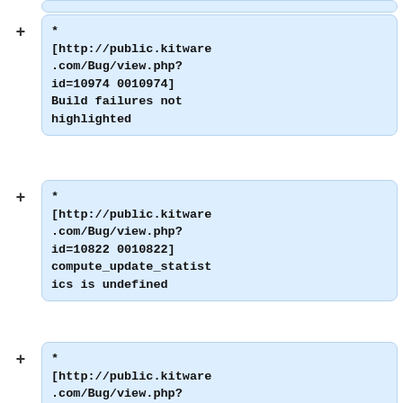* [http://public.kitware.com/Bug/view.php?id=10974 0010974] Build failures not highlighted
* [http://public.kitware.com/Bug/view.php?id=10822 0010822] compute_update_statistics is undefined
* [http://public.kitware.com/Bug/view.php?id=11799 0011799] "My Build Schedules" lists the same project name for all